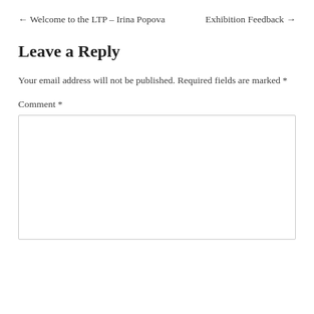← Welcome to the LTP – Irina Popova    Exhibition Feedback →
Leave a Reply
Your email address will not be published. Required fields are marked *
Comment *